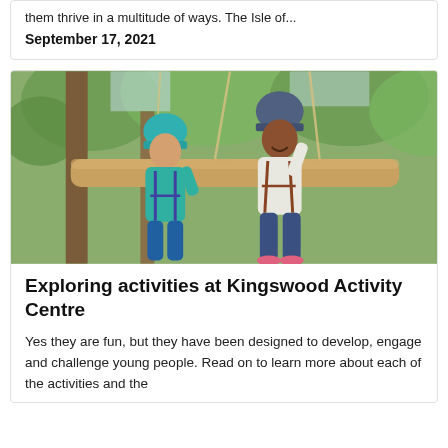them thrive in a multitude of ways. The Isle of...
September 17, 2021
[Figure (photo): Two children wearing helmets and harnesses on a high ropes course outdoors, balancing on a large wooden log suspended between trees, smiling and laughing.]
Exploring activities at Kingswood Activity Centre
Yes they are fun, but they have been designed to develop, engage and challenge young people. Read on to learn more about each of the activities and the